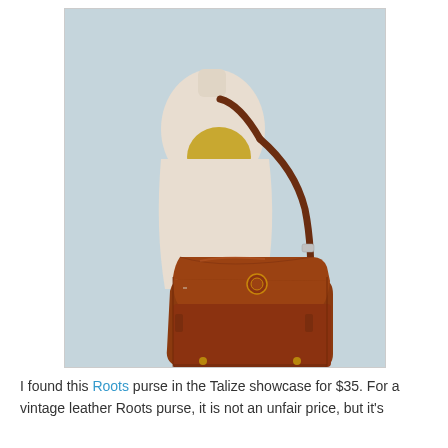[Figure (photo): A vintage brown leather Roots messenger/shoulder bag displayed on a cream-colored dress form mannequin against a light blue background. The bag has a front flap closure with a small round logo detail, and a long brown leather shoulder strap.]
I found this Roots purse in the Talize showcase for $35. For a vintage leather Roots purse, it is not an unfair price, but it's